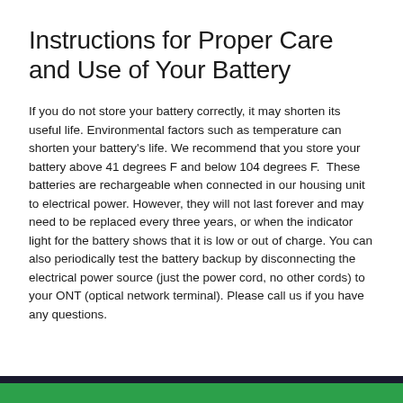Instructions for Proper Care and Use of Your Battery
If you do not store your battery correctly, it may shorten its useful life. Environmental factors such as temperature can shorten your battery's life. We recommend that you store your battery above 41 degrees F and below 104 degrees F.  These batteries are rechargeable when connected in our housing unit to electrical power. However, they will not last forever and may need to be replaced every three years, or when the indicator light for the battery shows that it is low or out of charge. You can also periodically test the battery backup by disconnecting the electrical power source (just the power cord, no other cords) to your ONT (optical network terminal). Please call us if you have any questions.